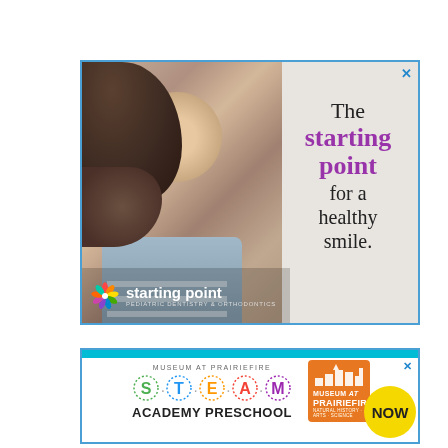[Figure (illustration): Advertisement for Starting Point Pediatric Dentistry & Orthodontics. Shows a father and baby smiling. Text reads: 'The starting point for a healthy smile.' with the Starting Point logo and tagline 'PEDIATRIC DENTISTRY & ORTHODONTICS'.]
[Figure (illustration): Advertisement for Museum at Prairiefire STEAM Academy Preschool. Features the STEAM logo with colorful letters S.T.E.A.M., the Museum at Prairiefire logo, and a 'NOW' badge in yellow.]